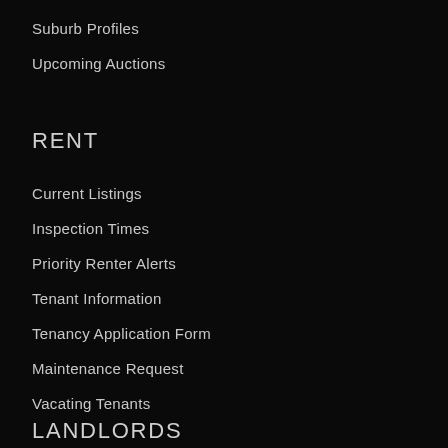Suburb Profiles
Upcoming Auctions
RENT
Current Listings
Inspection Times
Priority Renter Alerts
Tenant Information
Tenancy Application Form
Maintenance Request
Vacating Tenants
LANDLORDS